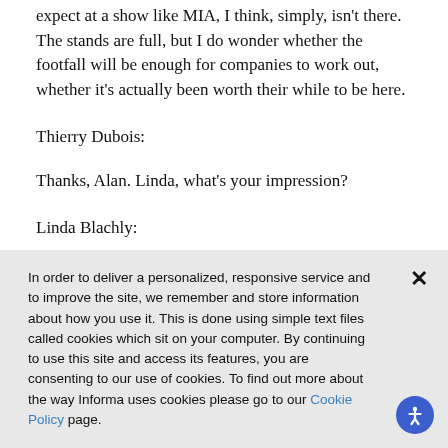expect at a show like MIA, I think, simply, isn't there. The stands are full, but I do wonder whether the footfall will be enough for companies to work out, whether it's actually been worth their while to be here.
Thierry Dubois:
Thanks, Alan. Linda, what's your impression?
Linda Blachly:
In order to deliver a personalized, responsive service and to improve the site, we remember and store information about how you use it. This is done using simple text files called cookies which sit on your computer. By continuing to use this site and access its features, you are consenting to our use of cookies. To find out more about the way Informa uses cookies please go to our Cookie Policy page.